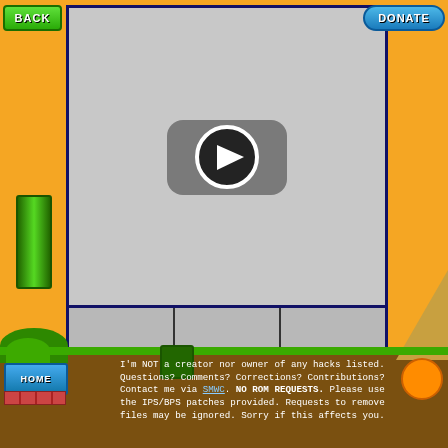[Figure (screenshot): BACK button - green pixel-art style button in top left]
[Figure (screenshot): DONATE button - blue rounded button in top right]
[Figure (screenshot): Main video player area with YouTube-style play button (dark rounded rectangle with play triangle) on gray background]
[Figure (screenshot): Row of three video thumbnails showing loading/unavailable icons (rounded rectangles with three dots) on gray background]
[Figure (screenshot): Super Mario World style background with orange/yellow sides, green pipe, and decorative elements]
[Figure (screenshot): HOME button - blue pixel art style button with brick pattern below]
I'm NOT a creator nor owner of any hacks listed. Questions? Comments? Corrections? Contributions? Contact me via SMWC. NO ROM REQUESTS. Please use the IPS/BPS patches provided. Requests to remove files may be ignored. Sorry if this affects you.